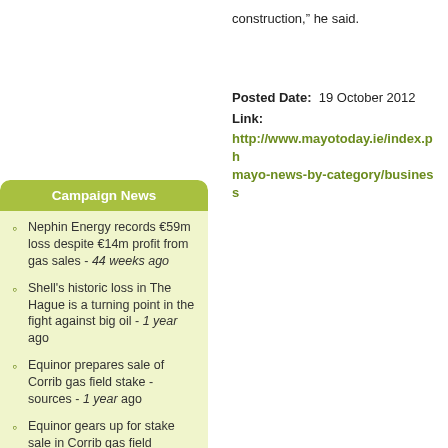construction," he said.
Posted Date:  19 October 2012
Link:
http://www.mayotoday.ie/index.ph mayo-news-by-category/business
Campaign News
Nephin Energy records €59m loss despite €14m profit from gas sales - 44 weeks ago
Shell's historic loss in The Hague is a turning point in the fight against big oil - 1 year ago
Equinor prepares sale of Corrib gas field stake -sources - 1 year ago
Equinor gears up for stake sale in Corrib gas field offshore Ireland - 1 year ago